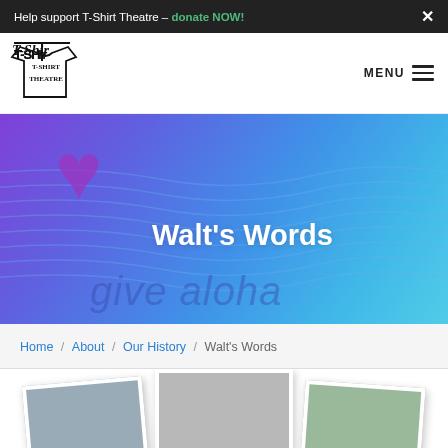Help support T-Shirt Theatre – donate NOW!
[Figure (logo): T-Shirt Theatre logo with stylized text]
MENU
[Figure (illustration): Hero banner with purple-to-blue gradient, wavy lines, purple heart, and text 'Walt's Words' with 'give aloha' watermark]
Walt's Words
give aloha
Home / About / Our History / Walt's Words
[Figure (photo): Three polaroid-style photos of people, partially visible at bottom of page]